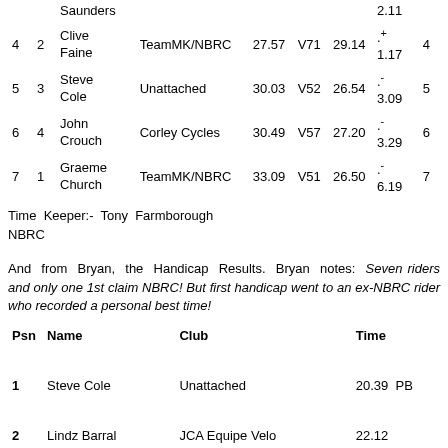| Pos | Cat | Name | Club | Time | Vet | Std | Diff | HPos |
| --- | --- | --- | --- | --- | --- | --- | --- | --- |
|  |  | Saunders |  |  |  |  | 2.11 |  |
| 4 | 2 | Clive Faine | TeamMK/NBRC | 27.57 | V71 | 29.14 | +1.17 | 4 |
| 5 | 3 | Steve Cole | Unattached | 30.03 | V52 | 26.54 | -3.09 | 5 |
| 6 | 4 | John Crouch | Corley Cycles | 30.49 | V57 | 27.20 | -3.29 | 6 |
| 7 | 1 | Graeme Church | TeamMK/NBRC | 33.09 | V51 | 26.50 | -6.19 | 7 |
Time Keeper:- Tony Farmborough NBRC
And from Bryan, the Handicap Results. Bryan notes: Seven riders and only one 1st claim NBRC! But first handicap went to an ex-NBRC rider who recorded a personal best time!
| Psn | Name | Club | Time |
| --- | --- | --- | --- |
| 1 | Steve Cole | Unattached | 20.39  PB |
| 2 | Lindz Barral | JCA Equipe Velo | 22.12 |